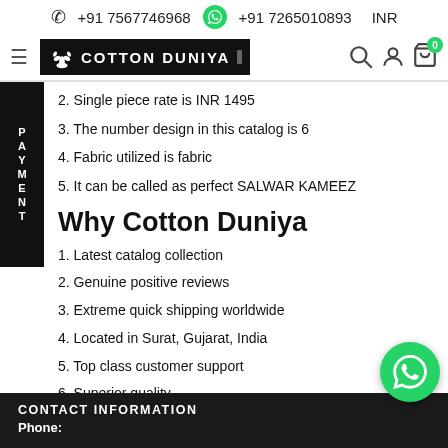☎ +91 7567746968   🟢 +91 7265010893   INR
[Figure (logo): Cotton Duniya logo with lotus icon on black background]
2. Single piece rate is INR 1495
3. The number design in this catalog is 6
4. Fabric utilized is fabric
5. It can be called as perfect SALWAR KAMEEZ
Why Cotton Duniya
1. Latest catalog collection
2. Genuine positive reviews
3. Extreme quick shipping worldwide
4. Located in Surat, Gujarat, India
5. Top class customer support
6. Superior quality
7. Regular discount to resellers
8. Best dealer, distributor, trader and supplier
CONTACT INFORMATION
Phone: